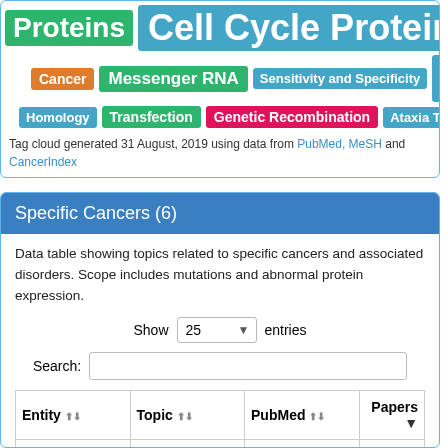[Figure (other): Tag cloud with colored keyword tags: Proteins (green, large), Cell Cycle Proteins (cyan, very large), Prostate Ca... (orange, large), Cancer (orange, medium), Messenger RNA (green, medium), Sensitivity and Specificity (teal, medium), DNA (cyan, very large cutoff), Homology (teal, medium), Transfection (green, medium), Genetic Recombination (pink, medium), Ataxia Telangie... (teal, medium)]
Tag cloud generated 31 August, 2019 using data from PubMed, MeSH and CancerIndex
Specific Cancers (6)
Data table showing topics related to specific cancers and associated disorders. Scope includes mutations and abnormal protein expression.
| Entity | Topic | PubMed | Papers |
| --- | --- | --- | --- |
| Breast Cancer | NBN and Breast... | ▶ View Publications | 85 |